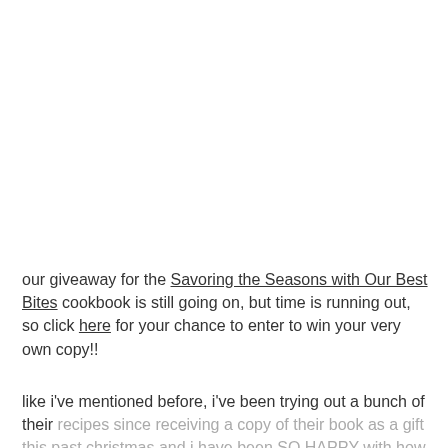our giveaway for the Savoring the Seasons with Our Best Bites cookbook is still going on, but time is running out, so click here for your chance to enter to win your very own copy!!
like i've mentioned before, i've been trying out a bunch of their recipes since receiving a copy of their book as a gift this past christmas and i have been SO HAPPY with how the recipes have